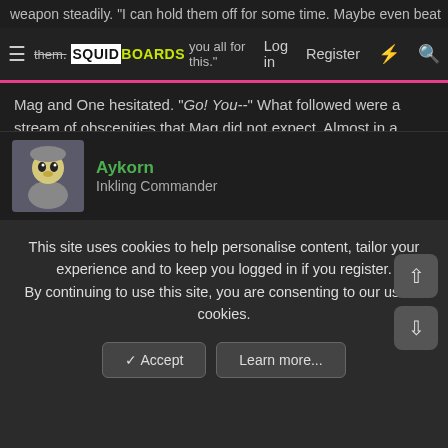weapon steadily. "I can hold them off for some time. Maybe even beat them. Thank you all for this." — SQUIDBOARDS — Log in  Register
Mag and One hesitated. "Go! You--" What followed were a stream of obscenities that Mag did not expect. Almost in a panic, the two ran off without thinking. But only for a few seconds. When they had some distance they heard the first shot fire. It was the familiar sound of the pistol.
"Mother..." One squeaked.
Mag and One looked back. The fight was beginning.
What do you do?
Aykorn — Inkling Commander
This site uses cookies to help personalise content, tailor your experience and to keep you logged in if you register. By continuing to use this site, you are consenting to our use of cookies.